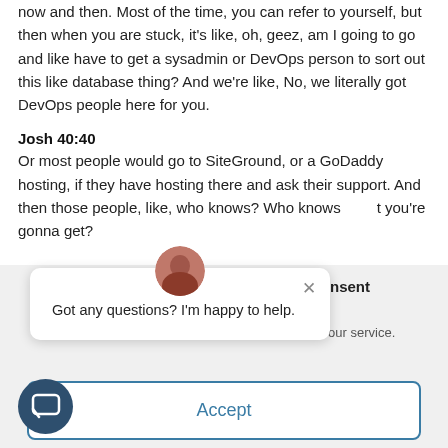now and then. Most of the time, you can refer to yourself, but then when you are stuck, it's like, oh, geez, am I going to go and like have to get a sysadmin or DevOps person to sort out this like database thing? And we're like, No, we literally got DevOps people here for you.
Josh 40:40
Or most people would go to SiteGround, or a GoDaddy hosting, if they have hosting there and ask their support. And then those people, like, who knows? Who knows what you're gonna get?
[Figure (screenshot): Chat popup with avatar photo of a woman, close X button, and text: 'Got any questions? I'm happy to help.']
Consent
nd our service.
Accept
[Figure (illustration): Dark blue circular chat icon button with speech bubble icon]